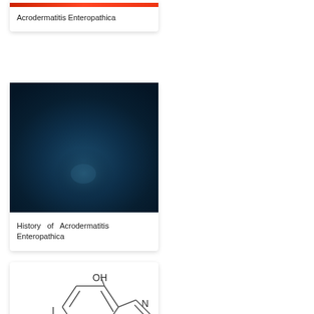[Figure (photo): Partial red/pink skin condition photo - Acrodermatitis Enteropathica (top portion cut off)]
Acrodermatitis Enteropathica
[Figure (photo): Dark blue/teal square image related to History of Acrodermatitis Enteropathica]
History of Acrodermatitis Enteropathica
[Figure (illustration): Chemical structure diagram of a quinoline compound with OH group, iodine (I) substituent, and nitrogen (N) in the ring]